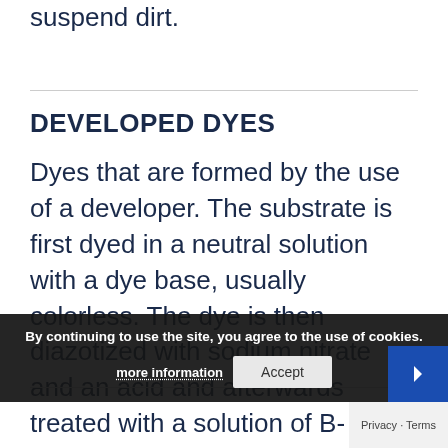suspend dirt.
DEVELOPED DYES
Dyes that are formed by the use of a developer. The substrate is first dyed in a neutral solution with a dye base, usually colorless. The dye is then diazotized with sodium nitrate and an acid and afterwards treated with a solution of B-naphthol, or a similar substance, which is the developer. Direct dyes are developed to produce a different shade or to improve wash-fastness or light-fastness. See NAPHTHO DYES...
By continuing to use the site, you agree to the use of cookies. more information Accept